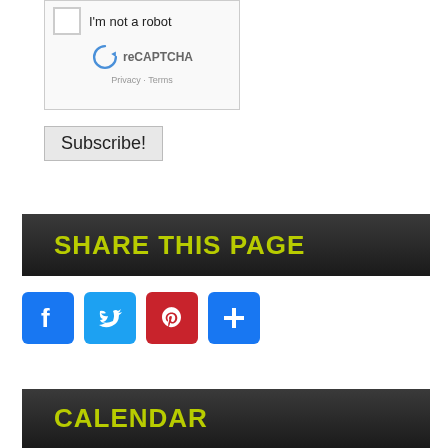[Figure (screenshot): reCAPTCHA widget with checkbox labeled 'I'm not a robot', reCAPTCHA logo and text, Privacy and Terms links]
Subscribe!
SHARE THIS PAGE
[Figure (infographic): Social sharing icons: Facebook (blue), Twitter (light blue), Pinterest (red), More/Plus (blue)]
CALENDAR